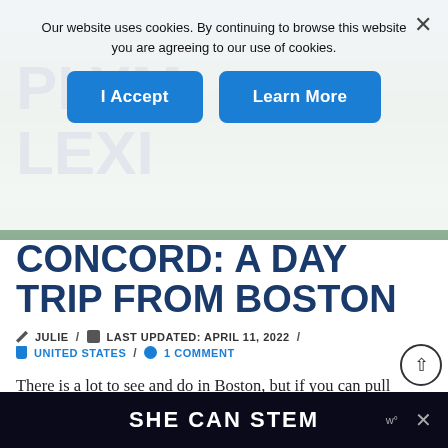[Figure (screenshot): Aerial/landscape photo of a town (Plymouth/Lexington/Concord area) used as article hero image background]
Our website uses cookies. By continuing to browse this website you are agreeing to our use of cookies.
I Accept
Learn More
PLYMOUTH, LEXINGTON & CONCORD: A DAY TRIP FROM BOSTON
✏ JULIE / 📅 LAST UPDATED: APRIL 11, 2022 / 🏴 UNITED STATES / 💬 1 COMMENT
There is a lot to see and do in Boston, but if you can pull yourself away for a day, there are several nearby towns that are perfect for a day trip. Plymouth, just a short drive from Boston, is w…
SHE CAN STEM